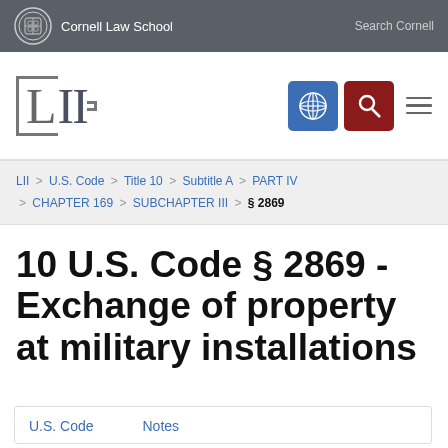Cornell Law School   Search Cornell
[Figure (logo): LII Legal Information Institute logo with navigation icons]
LII > U.S. Code > Title 10 > Subtitle A > PART IV > CHAPTER 169 > SUBCHAPTER III > §2869
10 U.S. Code § 2869 - Exchange of property at military installations
U.S. Code   Notes